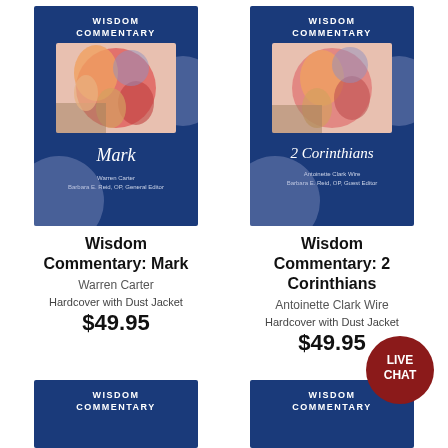[Figure (photo): Book cover: Wisdom Commentary - Mark by Warren Carter. Blue cover with colorful artwork of figures.]
Wisdom Commentary: Mark
Warren Carter
Hardcover with Dust Jacket
$49.95
[Figure (photo): Book cover: Wisdom Commentary - 2 Corinthians by Antoinette Clark Wire. Blue cover with colorful artwork of figures.]
Wisdom Commentary: 2 Corinthians
Antoinette Clark Wire
Hardcover with Dust Jacket
$49.95
[Figure (photo): Partial book cover: Wisdom Commentary series, blue cover, bottom of page.]
[Figure (photo): Partial book cover: Wisdom Commentary series, blue cover, bottom of page.]